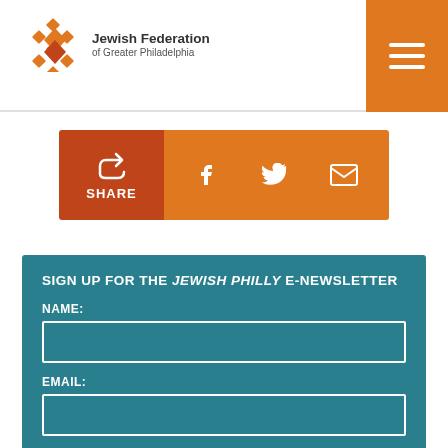Jewish Federation of Greater Philadelphia
[Figure (infographic): Share bar with share icon, Facebook, Twitter, and email icons on orange background]
SIGN UP FOR THE JEWISH PHILLY E-NEWSLETTER
NAME:
EMAIL:
SUBMIT